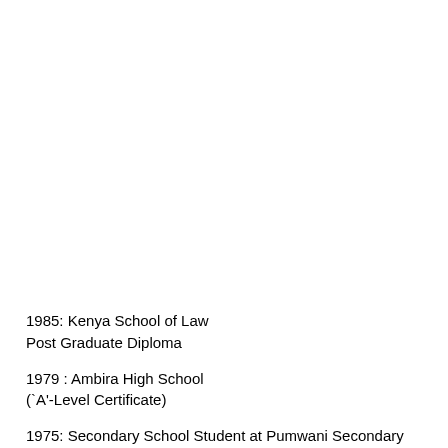1985: Kenya School of Law
Post Graduate Diploma
1979 : Ambira High School
(`A'-Level Certificate)
1975: Secondary School Student at Pumwani Secondary School, KENYA